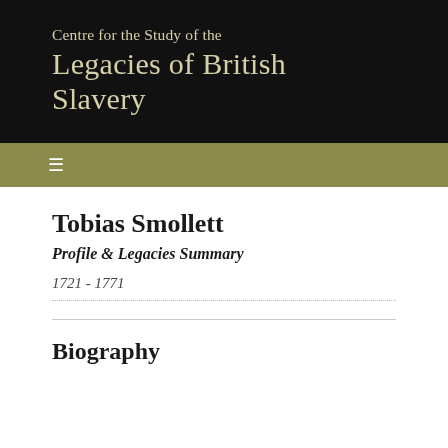Centre for the Study of the Legacies of British Slavery
Tobias Smollett
Profile & Legacies Summary
1721 - 1771
Biography